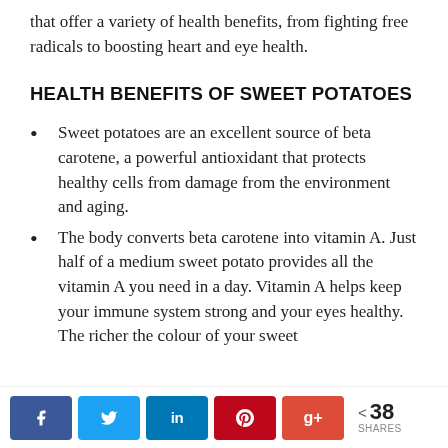that offer a variety of health benefits, from fighting free radicals to boosting heart and eye health.
HEALTH BENEFITS OF SWEET POTATOES
Sweet potatoes are an excellent source of beta carotene, a powerful antioxidant that protects healthy cells from damage from the environment and aging.
The body converts beta carotene into vitamin A. Just half of a medium sweet potato provides all the vitamin A you need in a day. Vitamin A helps keep your immune system strong and your eyes healthy. The richer the colour of your sweet
< 38 SHARES [Facebook] [Twitter] [LinkedIn] [Pinterest] [Google+]